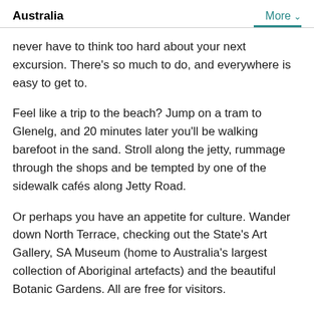Australia   More
never have to think too hard about your next excursion. There's so much to do, and everywhere is easy to get to.
Feel like a trip to the beach? Jump on a tram to Glenelg, and 20 minutes later you'll be walking barefoot in the sand. Stroll along the jetty, rummage through the shops and be tempted by one of the sidewalk cafés along Jetty Road.
Or perhaps you have an appetite for culture. Wander down North Terrace, checking out the State's Art Gallery, SA Museum (home to Australia's largest collection of Aboriginal artefacts) and the beautiful Botanic Gardens. All are free for visitors.